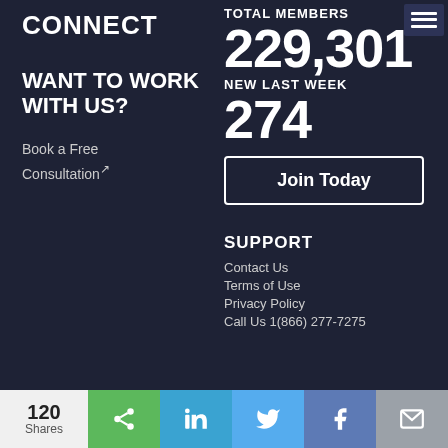CONNECT
TOTAL MEMBERS
229,301
NEW LAST WEEK
274
WANT TO WORK WITH US?
Book a Free Consultation
Join Today
SUPPORT
Contact Us
Terms of Use
Privacy Policy
Call Us 1(866) 277-7275
120 Shares